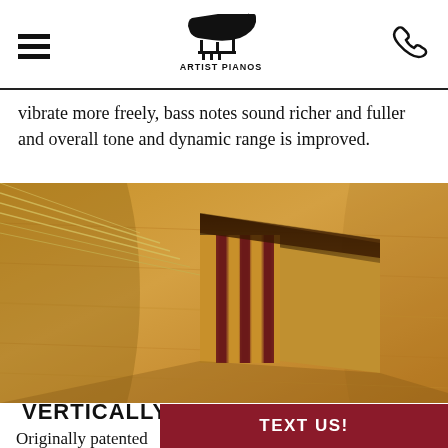Artist Pianos
vibrate more freely, bass notes sound richer and fuller and overall tone and dynamic range is improved.
[Figure (photo): Close-up photo of a vertically laminated piano bridge on a soundboard, showing alternating light and dark wood laminations with piano strings visible in the background.]
VERTICALLY LAMINATED BRIDGES
Originally patented ... design is now found...